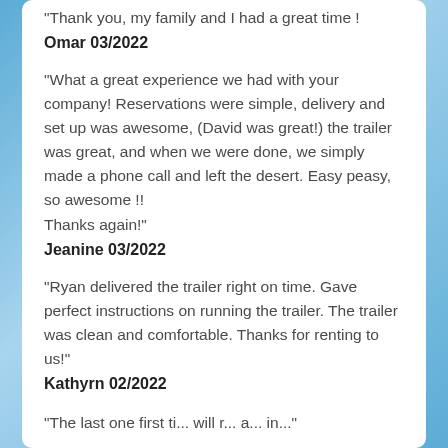Thank you, my family and I had a great time !
Omar 03/2022
“What a great experience we had with your company! Reservations were simple, delivery and set up was awesome, (David was great!) the trailer was great, and when we were done, we simply made a phone call and left the desert. Easy peasy, so awesome !! Thanks again!”
Jeanine 03/2022
“Ryan delivered the trailer right on time. Gave perfect instructions on running the trailer. The trailer was clean and comfortable. Thanks for renting to us!”
Kathyrn 02/2022
“The last one first ti... will r... a... in...”